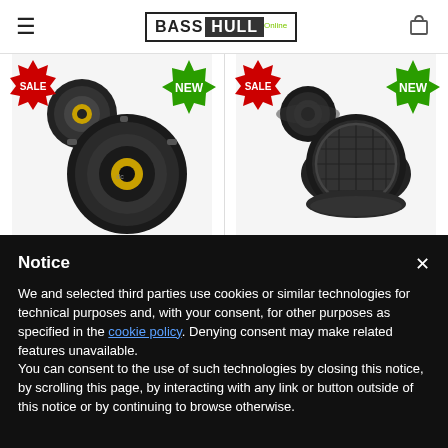Bass Hull Online — navigation header with hamburger menu and cart icon
[Figure (photo): Product card: Machete MM-80 speaker with SALE and NEW badges]
MACHETE MM-80
[Figure (photo): Product card: Machete MPT-17N tweeter with SALE and NEW badges]
MACHETE MPT-17N
Notice
We and selected third parties use cookies or similar technologies for technical purposes and, with your consent, for other purposes as specified in the cookie policy. Denying consent may make related features unavailable.
You can consent to the use of such technologies by closing this notice, by scrolling this page, by interacting with any link or button outside of this notice or by continuing to browse otherwise.